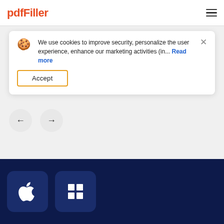pdfFiller
We use cookies to improve security, personalize the user experience, enhance our marketing activities (in... Read more
Accept
[Figure (screenshot): Navigation arrow buttons (back and forward) as circular grey buttons]
[Figure (screenshot): Dark navy blue section at the bottom with Apple (macOS) and Windows app icon buttons]